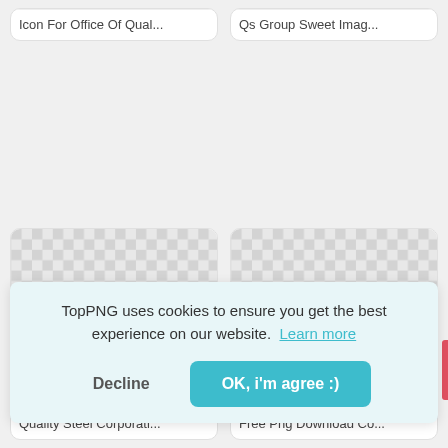[Figure (screenshot): TopPNG website screenshot showing a 2x2 grid of image cards with toppng logo branding, a cookie consent banner overlay, and partial bottom row cards. Top two cards show toppng logo with checkered transparency backgrounds labeled 'Icon For Office Of Qual...' and 'Qs Group Sweet Imag...'. Bottom two cards show checkered backgrounds labeled 'Quality Steel Corporati...' and 'Free Png Download Co...'. Cookie banner reads: 'TopPNG uses cookies to ensure you get the best experience on our website. Learn more' with Decline and OK, i'm agree :) buttons.]